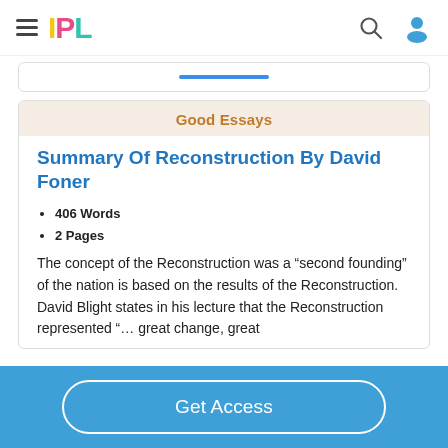IPL
Good Essays
Summary Of Reconstruction By David Foner
406 Words
2 Pages
The concept of the Reconstruction was a “second founding” of the nation is based on the results of the Reconstruction. David Blight states in his lecture that the Reconstruction represented “… great change, great
Get Access